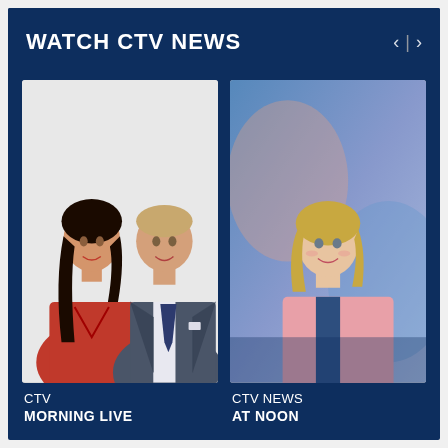WATCH CTV NEWS
[Figure (photo): Two news anchors, a woman in red blazer and a man in grey suit with tie, promotional photo for CTV Morning Live]
CTV
MORNING LIVE
[Figure (photo): Woman in pink blazer, promotional photo for CTV News at Noon]
CTV NEWS
AT NOON